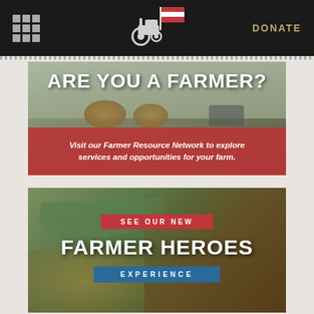Navigation menu | Logo | DONATE
[Figure (photo): Farm scene with hay bales and workers in field with text overlay 'ARE YOU A FARMER?' and red band with text 'Visit our Farmer Resource Network to explore services and opportunities for your farm.']
ARE YOU A FARMER?
Visit our Farmer Resource Network to explore services and opportunities for your farm.
[Figure (photo): Photo of hands over a green US map puzzle with overlaid text banners: 'SEE OUR NEW', 'FARMER HEROES', 'EXPERIENCE']
SEE OUR NEW
FARMER HEROES
EXPERIENCE